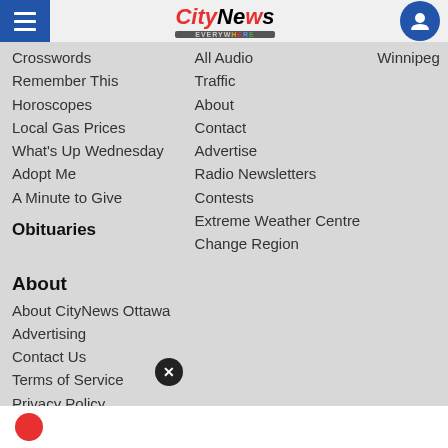CityNews Everywhere - Navigation Menu
Crosswords
Remember This
Horoscopes
Local Gas Prices
What's Up Wednesday
Adopt Me
A Minute to Give
Obituaries
All Audio
Traffic
About
Contact
Advertise
Radio Newsletters
Contests
Extreme Weather Centre
Change Region
Winnipeg
About
About CityNews Ottawa
Advertising
Contact Us
Terms of Service
Privacy Policy
Community Guidelines
Community Leaders Program